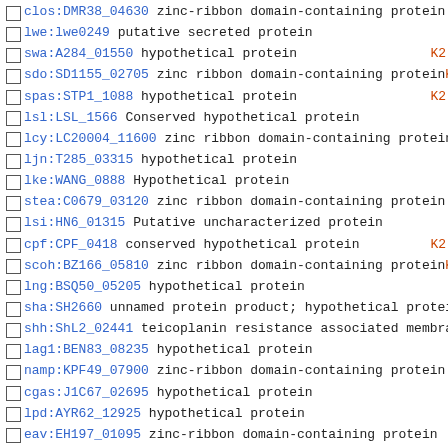clos:DMR38_04630 zinc-ribbon domain-containing protein
lwe:lwe0249 putative secreted protein
swa:A284_01550 hypothetical protein K2
sdo:SD1155_02705 zinc ribbon domain-containing protein K2
spas:STP1_1088 hypothetical protein K2
lsl:LSL_1566 Conserved hypothetical protein
lcy:LC20004_11600 zinc ribbon domain-containing protein
ljn:T285_03315 hypothetical protein
lke:WANG_0888 Hypothetical protein
stea:C0679_03120 zinc ribbon domain-containing protein
lsi:HN6_01315 Putative uncharacterized protein
cpf:CPF_0418 conserved hypothetical protein K2
scoh:BZ166_05810 zinc ribbon domain-containing protein K2
lng:BSQ50_05205 hypothetical protein
sha:SH2660 unnamed protein product; hypothetical protei K2
shh:ShL2_02441 teicoplanin resistance associated membra K2
lag1:BEN83_08235 hypothetical protein
namp:KPF49_07900 zinc-ribbon domain-containing protein
cgas:J1C67_02695 hypothetical protein
lpd:AYR62_12925 hypothetical protein
eav:EH197_01095 zinc-ribbon domain-containing protein
lpar:FAM21731_00399 hypothetical protein